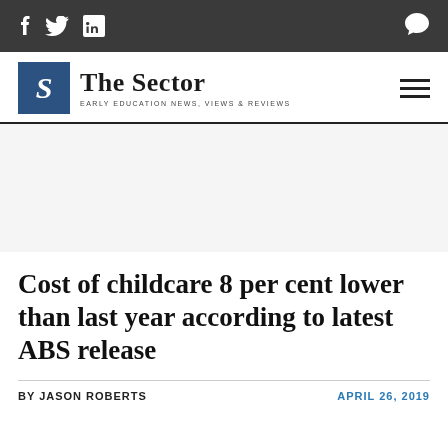f  y  in  [comment icon]
[Figure (logo): The Sector logo — blue square with S, site name 'The Sector', tagline 'EARLY EDUCATION NEWS, VIEWS & REVIEWS', hamburger menu icon]
[Figure (other): Advertisement placeholder area (light grey background)]
Cost of childcare 8 per cent lower than last year according to latest ABS release
BY JASON ROBERTS
APRIL 26, 2019